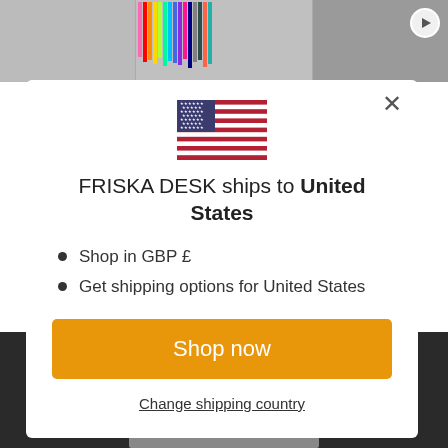[Figure (screenshot): Website background showing product thumbnails and a dark footer area]
[Figure (illustration): US flag emoji/icon centered in the modal]
FRISKA DESK ships to United States
Shop in GBP £
Get shipping options for United States
Shop now
Change shipping country